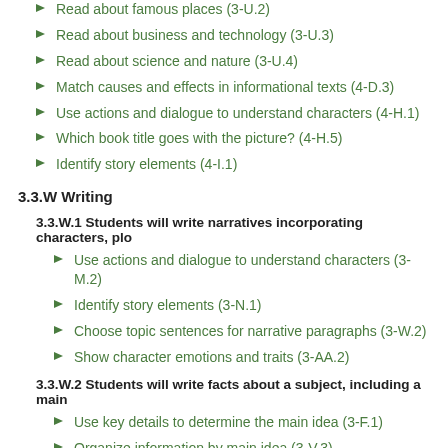Read about famous places (3-U.2)
Read about business and technology (3-U.3)
Read about science and nature (3-U.4)
Match causes and effects in informational texts (4-D.3)
Use actions and dialogue to understand characters (4-H.1)
Which book title goes with the picture? (4-H.5)
Identify story elements (4-I.1)
3.3.W Writing
3.3.W.1 Students will write narratives incorporating characters, plo
Use actions and dialogue to understand characters (3-M.2)
Identify story elements (3-N.1)
Choose topic sentences for narrative paragraphs (3-W.2)
Show character emotions and traits (3-AA.2)
3.3.W.2 Students will write facts about a subject, including a main
Use key details to determine the main idea (3-F.1)
Organize information by main idea (3-V.3)
Select the detail that does not support the topic sentence (3-W.1